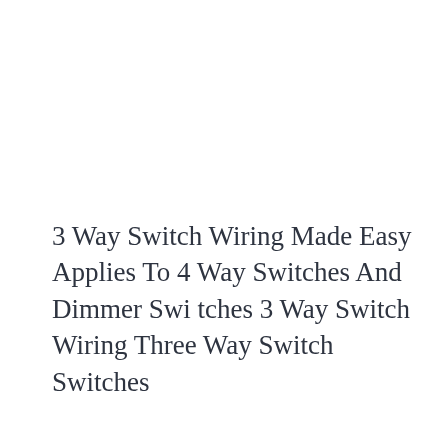3 Way Switch Wiring Made Easy Applies To 4 Way Switches And Dimmer Switches 3 Way Switch Wiring Three Way Switch Switches